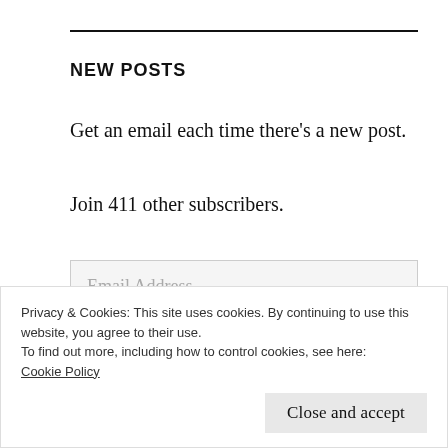NEW POSTS
Get an email each time there's a new post.
Join 411 other subscribers.
Email Address
SUBSCRIBE
Privacy & Cookies: This site uses cookies. By continuing to use this website, you agree to their use.
To find out more, including how to control cookies, see here:
Cookie Policy
Close and accept